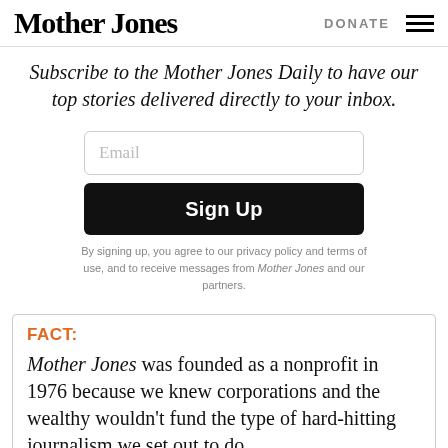Mother Jones | DONATE
Subscribe to the Mother Jones Daily to have our top stories delivered directly to your inbox.
Email
Sign Up
By signing up, you agree to our privacy policy and terms of use, and to receive messages from Mother Jones and our partners.
FACT:
Mother Jones was founded as a nonprofit in 1976 because we knew corporations and the wealthy wouldn't fund the type of hard-hitting journalism we set out to do.